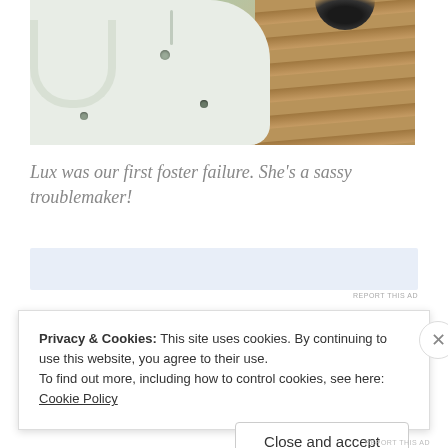[Figure (photo): Close-up photo of the bottom of a white appliance (possibly a scale or litter box) on a wood floor, with a glimpse of a black cat at the top]
Lux was our first foster failure. She's a sassy troublemaker!
[Figure (other): Advertisement bar (light blue background)]
REPORT THIS AD
Privacy & Cookies: This site uses cookies. By continuing to use this website, you agree to their use.
To find out more, including how to control cookies, see here: Cookie Policy
Close and accept
REPORT THIS AD